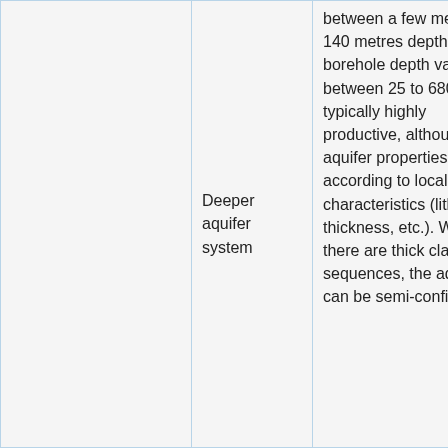|  | Deeper aquifer system | between a few metres to 140 metres depth. Typical borehole depth varies between 25 to 680 m. It is typically highly productive, although aquifer properties vary according to local characteristics (lithology, thickness, etc.). Where there are thick clay sequences, the aquifers can be semi-confined or | Groundwater depletion occurs loca due to overabstra |